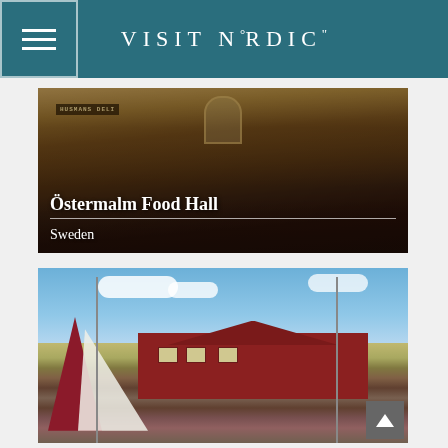VISIT NORDIC
[Figure (photo): Interior of Östermalm Food Hall in Stockholm, Sweden. A grand market hall with wooden stalls, including Husmans Deli sign visible, arched windows, ornate architecture, and crowds of shoppers. Text overlay reads 'Östermalm Food Hall' and 'Sweden'.]
[Figure (photo): Outdoor harbor or waterfront scene with a maroon/dark red tent or sail structure in the foreground, red traditional Swedish buildings with clay tile roofs in the background, under a partly cloudy sky.]